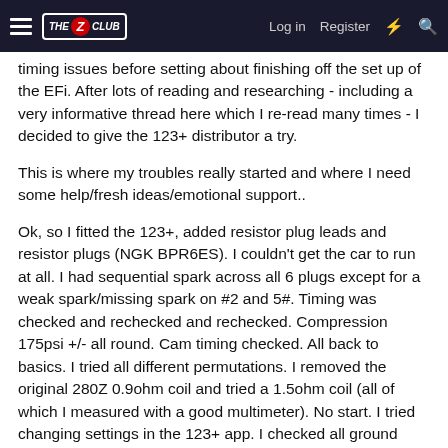The Z Club — Log in | Register
timing issues before setting about finishing off the set up of the EFi. After lots of reading and researching - including a very informative thread here which I re-read many times - I decided to give the 123+ distributor a try.
This is where my troubles really started and where I need some help/fresh ideas/emotional support..
Ok, so I fitted the 123+, added resistor plug leads and resistor plugs (NGK BPR6ES). I couldn't get the car to run at all. I had sequential spark across all 6 plugs except for a weak spark/missing spark on #2 and 5#. Timing was checked and rechecked and rechecked. Compression 175psi +/- all round. Cam timing checked. All back to basics. I tried all different permutations. I removed the original 280Z 0.9ohm coil and tried a 1.5ohm coil (all of which I measured with a good multimeter). No start. I tried changing settings in the 123+ app. I checked all ground points and wiring. No joy.